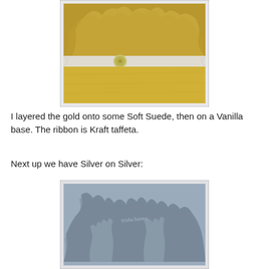[Figure (photo): A gold-on-gold handmade card with tree/forest pattern, layered on Soft Suede and Vanilla base, with a Kraft taffeta ribbon and a small green button in the center.]
I layered the gold onto some Soft Suede, then on a Vanilla base. The ribbon is Kraft taffeta.
Next up we have Silver on Silver:
[Figure (photo): A silver-on-silver handmade card with tree/forest silhouette pattern on a grey/blue background.]